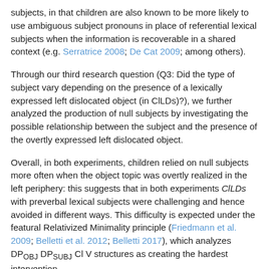subjects, in that children are also known to be more likely to use ambiguous subject pronouns in place of referential lexical subjects when the information is recoverable in a shared context (e.g. Serratuce 2008; De Cat 2009; among others).
Through our third research question (Q3: Did the type of subject vary depending on the presence of a lexically expressed left dislocated object (in ClLDs)?), we further analyzed the production of null subjects by investigating the possible relationship between the subject and the presence of the overtly expressed left dislocated object.
Overall, in both experiments, children relied on null subjects more often when the object topic was overtly realized in the left periphery: this suggests that in both experiments ClLDs with preverbal lexical subjects were challenging and hence avoided in different ways. This difficulty is expected under the featural Relativized Minimality principle (Friedmann et al. 2009; Belletti et al. 2012; Belletti 2017), which analyzes DPOBJ DPSUBJ Cl V structures as creating the hardest intervention